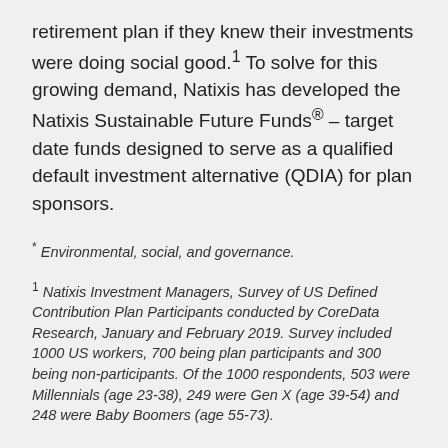retirement plan if they knew their investments were doing social good.¹ To solve for this growing demand, Natixis has developed the Natixis Sustainable Future Funds® – target date funds designed to serve as a qualified default investment alternative (QDIA) for plan sponsors.
* Environmental, social, and governance.
¹ Natixis Investment Managers, Survey of US Defined Contribution Plan Participants conducted by CoreData Research, January and February 2019. Survey included 1000 US workers, 700 being plan participants and 300 being non-participants. Of the 1000 respondents, 503 were Millennials (age 23-38), 249 were Gen X (age 39-54) and 248 were Baby Boomers (age 55-73).